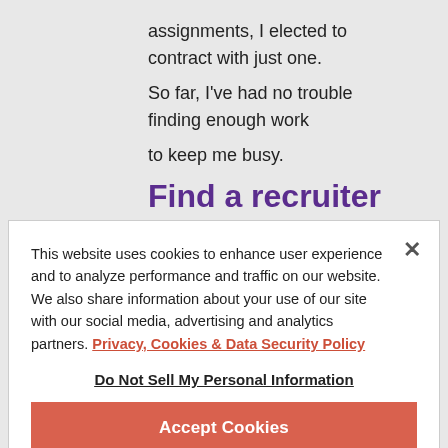assignments, I elected to contract with just one. So far, I've had no trouble finding enough work to keep me busy.
Find a recruiter who advocates for you
This website uses cookies to enhance user experience and to analyze performance and traffic on our website. We also share information about your use of our site with our social media, advertising and analytics partners. Privacy, Cookies & Data Security Policy
Do Not Sell My Personal Information
Accept Cookies